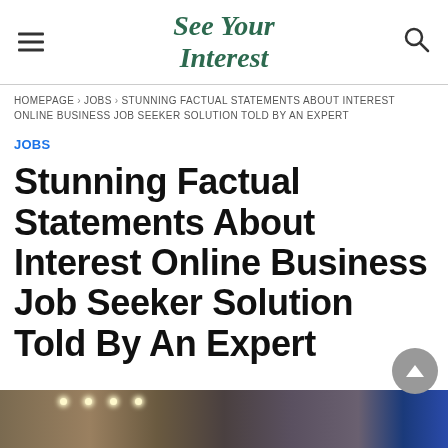See Your Interest
HOMEPAGE › JOBS › STUNNING FACTUAL STATEMENTS ABOUT INTEREST ONLINE BUSINESS JOB SEEKER SOLUTION TOLD BY AN EXPERT
JOBS
Stunning Factual Statements About Interest Online Business Job Seeker Solution Told By An Expert
[Figure (photo): Bottom portion of an indoor scene, partially visible, showing ceiling lights and a blue sign in the background.]